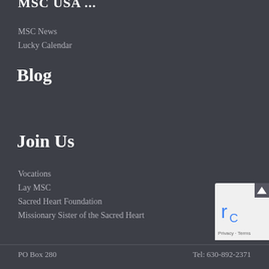Blog
MSC News
Lucky Calendar
Join Us
Vocations
Lay MSC
Sacred Heart Foundation
Missionary Sister of the Sacred Heart
PO Box 280    Tel: 630-892-2371